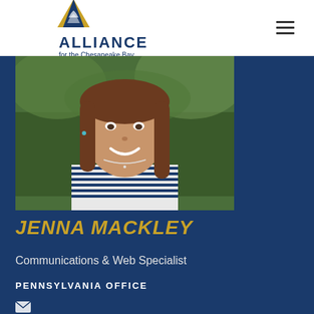[Figure (logo): Alliance for the Chesapeake Bay logo with mountain/tree graphic and text]
[Figure (photo): Headshot of Jenna Mackley, a woman with long brown hair smiling, wearing a striped top, outdoors with green background]
JENNA MACKLEY
Communications & Web Specialist
PENNSYLVANIA OFFICE